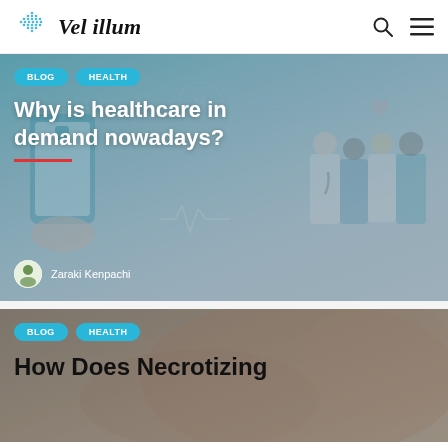Vel illum
[Figure (illustration): Healthcare blog hero image with illustration of doctors and medical app on smartphone, with BLOG and HEALTH badge tags, title 'Why is healthcare in demand nowadays?', author Zaraki Kenpachi]
Why is healthcare in demand nowadays?
Zaraki Kenpachi
[Figure (photo): Second blog card with BLOG and HEALTH badge tags, beginning of title 'How Does Necrotizing...' over a blurred medical background photo]
How Does Necrotizing